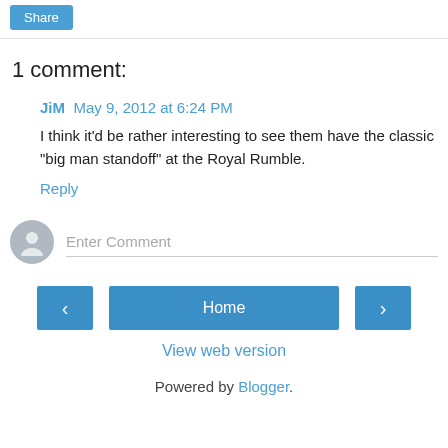[Figure (screenshot): Share button at top of page]
1 comment:
JiM May 9, 2012 at 6:24 PM
I think it'd be rather interesting to see them have the classic "big man standoff" at the Royal Rumble.
Reply
[Figure (screenshot): Enter Comment input field with avatar icon]
[Figure (screenshot): Navigation bar with back arrow, Home button, forward arrow]
View web version
Powered by Blogger.